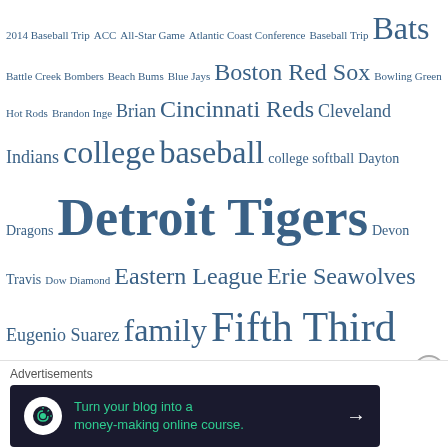2014 Baseball Trip ACC All-Star Game Atlantic Coast Conference Baseball Trip Bats Battle Creek Bombers Beach Bums Blue Jays Boston Red Sox Bowling Green Hot Rods Brandon Inge Brian Cincinnati Reds Cleveland Indians college baseball college softball Dayton Dragons Detroit Tigers Devon Travis Dow Diamond Eastern League Erie Seawolves Eugenio Suarez family Fifth Third Ballpark Fort Wayne TinCaps Frontier League fun girls softball GLIAC Great Lakes Loons Independant Pro Baseball Indians International League IPBF Lake County Captains Lakeland Flying Tigers Lakers LAKER SOFTBALL Lake Superior State Lansing LugNuts Little League Little League Baseball Logo of the Month Loons Los Angeles Dodgers Louisville Louisville Bats Louisville Cardinals Louisville Slugger Field LSSU Lakers LSSU Softball LugNuts Major League Baseball Midwest League MiLB Minor League Baseball MLB NCAA Nick Castellanos Reds Red Sox Sault Area Little League Scott Sizemore softball South Atlantic
Advertisements
[Figure (infographic): Advertisement banner: Turn your blog into a money-making online course.]